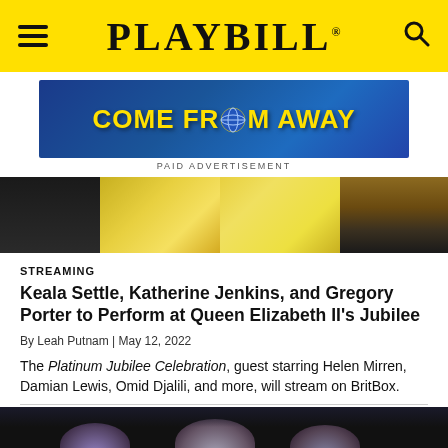PLAYBILL
[Figure (illustration): Come From Away advertisement banner with yellow text on blue background]
PAID ADVERTISEMENT
[Figure (photo): Cropped hero image showing performers, including someone in a yellow outfit]
STREAMING
Keala Settle, Katherine Jenkins, and Gregory Porter to Perform at Queen Elizabeth II's Jubilee
By Leah Putnam | May 12, 2022
The Platinum Jubilee Celebration, guest starring Helen Mirren, Damian Lewis, Omid Djalili, and more, will stream on BritBox.
[Figure (photo): Bottom photo showing performers on a dark stage, partially visible at bottom of page]